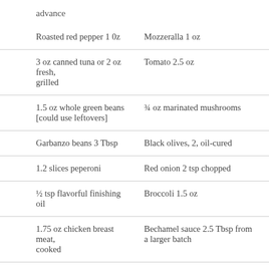advance
| Roasted red pepper 1 0z | Mozzeralla 1 oz |
| 3 oz canned tuna or 2 oz fresh, grilled | Tomato 2.5 oz |
| 1.5 oz whole green beans [could use leftovers] | ¾ oz marinated mushrooms |
| Garbanzo beans 3 Tbsp | Black olives, 2, oil-cured |
| 1.2 slices peperoni | Red onion 2 tsp chopped |
| ½ tsp flavorful finishing oil | Broccoli 1.5 oz |
| 1.75 oz chicken breast meat, cooked | Bechamel sauce 2.5 Tbsp from a larger batch |
| 3 part-buckwheat crepes – | 1.5 c. chicken stock     carrot |